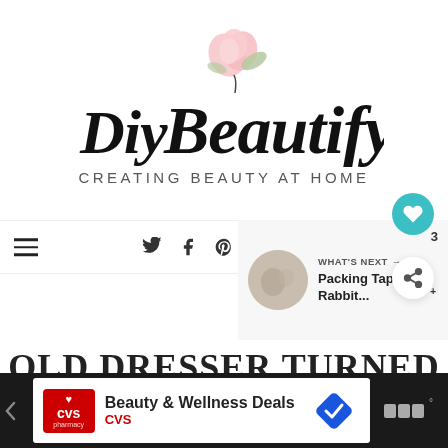[Figure (logo): Diy Beautify logo with pink rose illustration and script text 'Diy Beautify' and subtitle 'CREATING BEAUTY AT HOME']
Navigation bar with hamburger menu, social icons (Twitter, Facebook, Pinterest, Instagram, YouTube), search bar, heart button, share button, count badge '3'
[Figure (infographic): WHAT'S NEXT sidebar widget with circular image thumbnail and text 'Packing Tape Rabbit...']
OLD DRESSER TURNED
[Figure (screenshot): CVS Beauty & Wellness Deals advertisement banner at bottom of page]